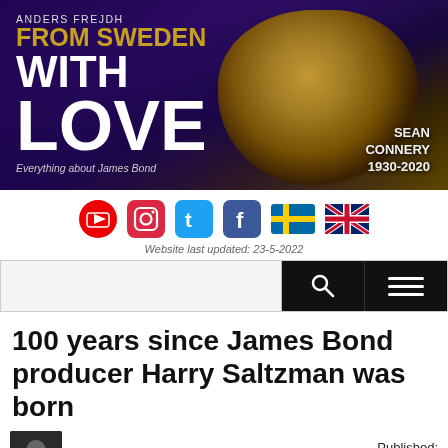[Figure (illustration): Banner header for 'Anders Frejdh From Sweden With Love' James Bond fan site, featuring large white text on purple/dark background with a golden-toned image of Sean Connery on the right side. Text reads: ANDERS FREJDH, FROM SWEDEN, WITH, LOVE, Everything about James Bond. Also shows SEAN CONNERY 1930-2020 label.]
[Figure (other): Row of social media icons: YouTube (red circle), Instagram (camera), Twitter (blue bird), Facebook (blue f), Swedish flag, UK flag]
Website last updated: 23-5-2022
[Figure (screenshot): Navigation bar with search input on left, black search button with magnifying glass icon, black hamburger menu button on right]
100 years since James Bond producer Harry Saltzman was born
By: Anders Frejdh
Published: 2015-10-27